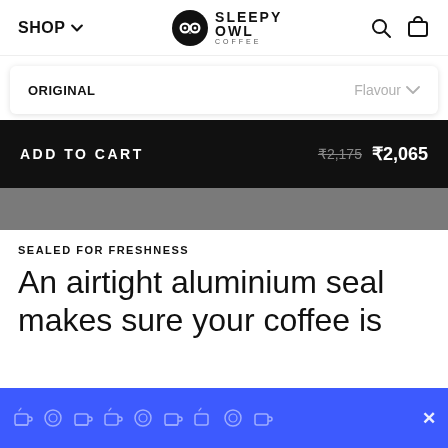SHOP ↓  SLEEPY OWL COFFEE  [search icon] [cart icon]
ORIGINAL   Flavour ↓
ADD TO CART   ₹2,175  ₹2,065
[Figure (other): Grey horizontal bar placeholder]
SEALED FOR FRESHNESS
An airtight aluminium seal makes sure your coffee is
[Figure (other): Blue bottom banner with repeating coffee cup icons and close button]